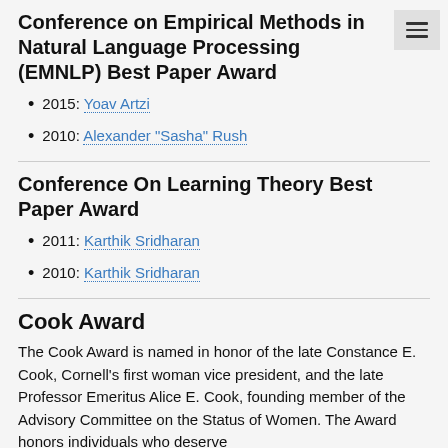Conference on Empirical Methods in Natural Language Processing (EMNLP) Best Paper Award
2015: Yoav Artzi
2010: Alexander "Sasha" Rush
Conference On Learning Theory Best Paper Award
2011: Karthik Sridharan
2010: Karthik Sridharan
Cook Award
The Cook Award is named in honor of the late Constance E. Cook, Cornell's first woman vice president, and the late Professor Emeritus Alice E. Cook, founding member of the Advisory Committee on the Status of Women. The Award honors individuals who deserve